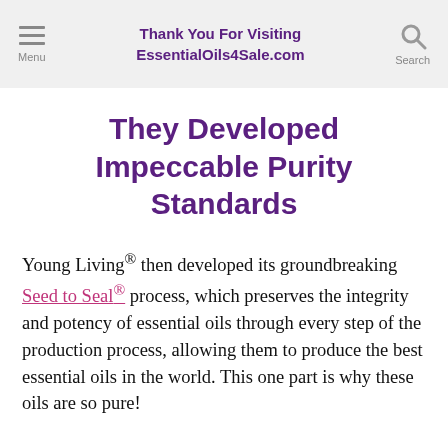Thank You For Visiting EssentialOils4Sale.com
They Developed Impeccable Purity Standards
Young Living® then developed its groundbreaking Seed to Seal® process, which preserves the integrity and potency of essential oils through every step of the production process, allowing them to produce the best essential oils in the world. This one part is why these oils are so pure!